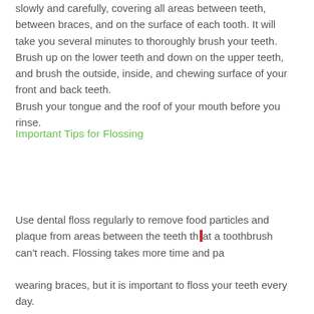slowly and carefully, covering all areas between teeth, between braces, and on the surface of each tooth. It will take you several minutes to thoroughly brush your teeth. Brush up on the lower teeth and down on the upper teeth, and brush the outside, inside, and chewing surface of your front and back teeth.
Brush your tongue and the roof of your mouth before you rinse.
Important Tips for Flossing
Use dental floss regularly to remove food particles and plaque from areas between the teeth that a toothbrush can't reach. Flossing takes more time and patience when you're wearing braces, but it is important to floss your teeth every day.
Use care around your archwire and do not force the floss